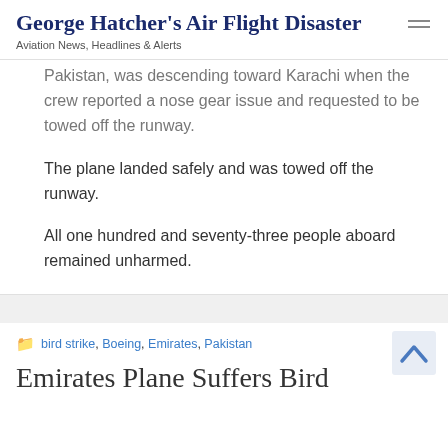George Hatcher's Air Flight Disaster
Aviation News, Headlines & Alerts
Pakistan, was descending toward Karachi when the crew reported a nose gear issue and requested to be towed off the runway.
The plane landed safely and was towed off the runway.
All one hundred and seventy-three people aboard remained unharmed.
bird strike, Boeing, Emirates, Pakistan
Emirates Plane Suffers Bird